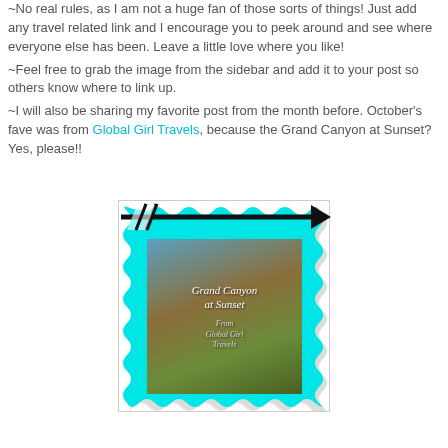~No real rules, as I am not a huge fan of those sorts of things! Just add any travel related link and I encourage you to peek around and see where everyone else has been. Leave a little love where you like!
~Feel free to grab the image from the sidebar and add it to your post so others know where to link up.
~I will also be sharing my favorite post from the month before. October's fave was from Global Girl Travels, because the Grand Canyon at Sunset? Yes, please!!
[Figure (illustration): Decorative image with cyan scalloped border frame and an arrow overlaid. Inside the frame is a photo of the Grand Canyon with italic text reading 'Grand Canyon at Sunset' and 'From Global Girl Travels'.]